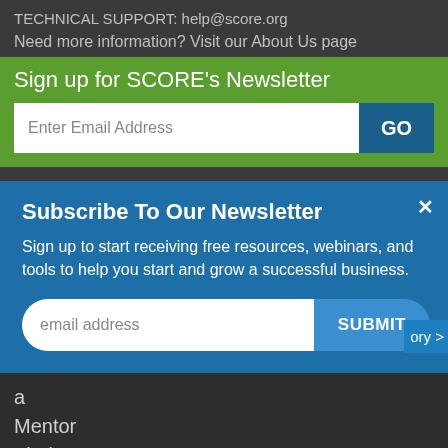TECHNICAL SUPPORT: help@score.org
Need more information? Visit our About Us page
Sign up for SCORE's Newsletter
Enter Email Address
GO
Subscribe To Our Newsletter
Sign up to start receiving free resources, webinars, and tools to help you start and grow a successful business.
email address
SUBMIT
a
Mentor
Find a
Location